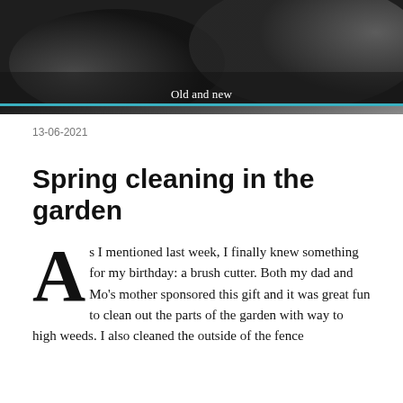[Figure (photo): Dark photograph showing hands or garden scene with muted tones, caption overlay reading 'Old and new']
Old and new
13-06-2021
Spring cleaning in the garden
As I mentioned last week, I finally knew something for my birthday: a brush cutter. Both my dad and Mo’s mother sponsored this gift and it was great fun to clean out the parts of the garden with way to high weeds. I also cleaned the outside of the fence